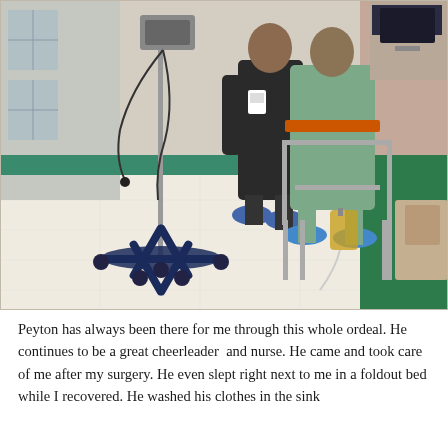[Figure (photo): Hospital hallway photo showing a patient in a green hospital gown using a walker, wearing blue shoe covers, with a drainage bag attached to the walker. A healthcare worker in dark scrubs walks alongside. An IV pole with equipment and cables is visible in the foreground. The hallway has a green carpet strip along the right wall and white tile flooring.]
Peyton has always been there for me through this whole ordeal. He continues to be a great cheerleader  and nurse. He came and took care of me after my surgery. He even slept right next to me in a foldout bed while I recovered. He washed his clothes in the sink